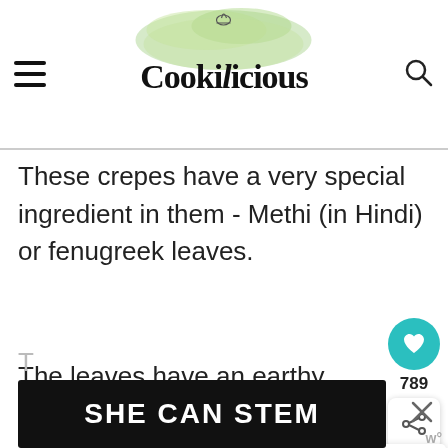Cookilicious
These crepes have a very special ingredient in them - Methi (in Hindi) or fenugreek leaves.
The leaves have an earthy, grassy, have slightly sweet aroma, and are a tad bitter to the taste.
[Figure (other): Floating UI: heart/like button with teal background showing count 789, and a share button below]
[Figure (other): What's Next widget showing Shahjahani Dal | Mugla... with circular thumbnail]
[Figure (other): Ad banner with dark background and white bold text SHE CAN STEM with close X button]